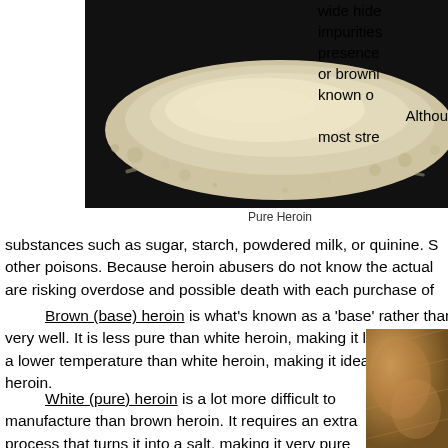[Figure (photo): Photograph of pure heroin powder spread on a black surface, appearing as a white/off-white granular powder]
Pure Heroin
wide hide impurities presence or browni known o Althou most stre substances such as sugar, starch, powdered milk, or quinine. S other poisons. Because heroin abusers do not know the actual are risking overdose and possible death with each purchase of
Brown (base) heroin is what's known as a 'base' rather than very well. It is less pure than white heroin, making it less strong a lower temperature than white heroin, making it ideal for smok heroin.
White (pure) heroin is a lot more difficult to manufacture than brown heroin. It requires an extra process that turns it into a salt, making it very pure and water-soluble. However, special chemicals, expertise and equipment are required and the last stage of the process can be very dangerous - it involves the use of ether which can explode and destroy an entire
[Figure (photo): Partial photograph of brown heroin visible at bottom right of page]